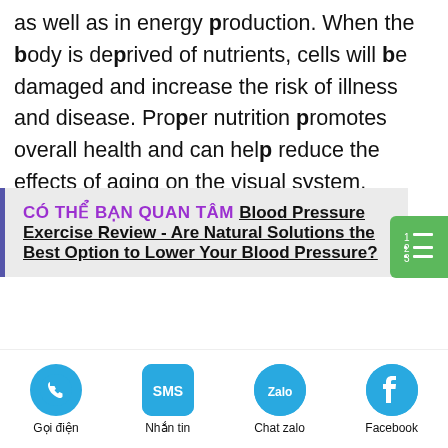as well as in energy production. When the body is deprived of nutrients, cells will be damaged and increase the risk of illness and disease. Proper nutrition promotes overall health and can help reduce the effects of aging on the visual system.
CÓ THỂ BẠN QUAN TÂM Blood Pressure Exercise Review - Are Natural Solutions the Best Option to Lower Your Blood Pressure?
How important are
[Figure (infographic): Bottom navigation bar with four contact options: Gọi điện (phone call), Nhắn tin (SMS), Chat zalo (Zalo chat), Facebook - each with a circular blue icon]